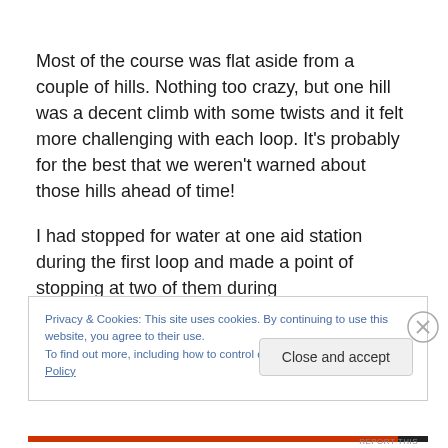Most of the course was flat aside from a couple of hills. Nothing too crazy, but one hill was a decent climb with some twists and it felt more challenging with each loop. It's probably for the best that we weren't warned about those hills ahead of time!
I had stopped for water at one aid station during the first loop and made a point of stopping at two of them during
Privacy & Cookies: This site uses cookies. By continuing to use this website, you agree to their use.
To find out more, including how to control cookies, see here: Cookie Policy